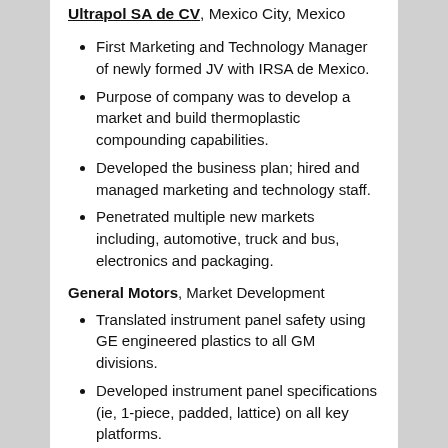Ultrapol SA de CV, Mexico City, Mexico
First Marketing and Technology Manager of newly formed JV with IRSA de Mexico.
Purpose of company was to develop a market and build thermoplastic compounding capabilities.
Developed the business plan; hired and managed marketing and technology staff.
Penetrated multiple new markets including, automotive, truck and bus, electronics and packaging.
General Motors, Market Development
Translated instrument panel safety using GE engineered plastics to all GM divisions.
Developed instrument panel specifications (ie, 1-piece, padded, lattice) on all key platforms.
Achieved dramatic sales growth.
Chrysler, AMC, Market Development